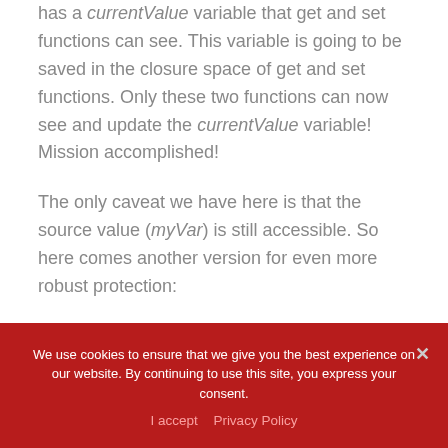has a currentValue variable that get and set functions can see. This variable is going to be saved in the closure space of get and set functions. Only these two functions can now see and update the currentValue variable! Mission accomplished!
The only caveat we have here is that the source value (myVar) is still accessible. So here comes another version for even more robust protection:
We use cookies to ensure that we give you the best experience on our website. By continuing to use this site, you express your consent.
I accept   Privacy Policy